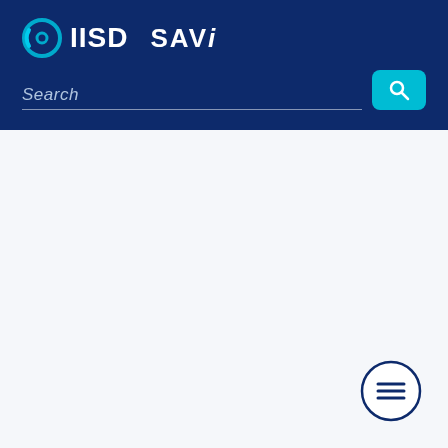[Figure (logo): IISD SAVi logo and search bar interface header on dark navy blue background]
[Figure (other): White content area with hamburger menu button (three horizontal lines in circle) in bottom right corner]